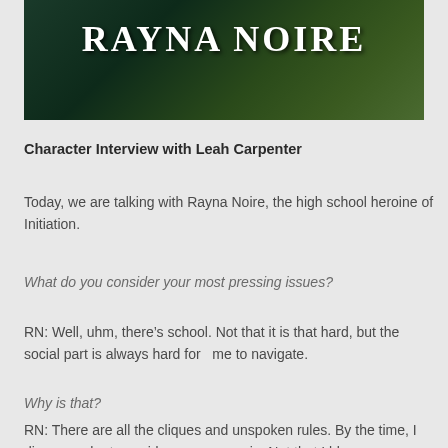[Figure (photo): Dark green nature background with the text RAYNA NOIRE in large white serif font at the top]
Character Interview with Leah Carpenter
Today, we are talking with Rayna Noire, the high school heroine of Initiation.
What do you consider your most pressing issues?
RN: Well, uhm, there’s school. Not that it is that hard, but the social part is always hard for   me to navigate.
Why is that?
RN: There are all the cliques and unspoken rules. By the time, I discover who to avoid, we move again. Not that I blame my parents entirely for the moves it’s a pagan thing?